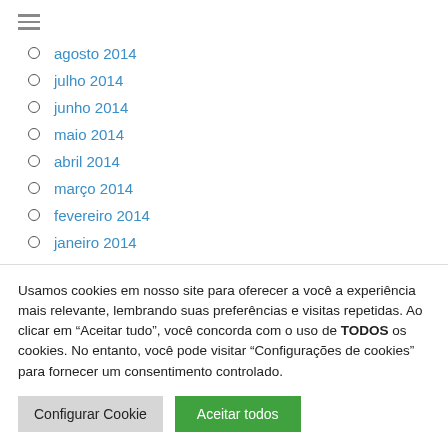agosto 2014
julho 2014
junho 2014
maio 2014
abril 2014
março 2014
fevereiro 2014
janeiro 2014
Usamos cookies em nosso site para oferecer a você a experiência mais relevante, lembrando suas preferências e visitas repetidas. Ao clicar em “Aceitar tudo”, você concorda com o uso de TODOS os cookies. No entanto, você pode visitar “Configurações de cookies” para fornecer um consentimento controlado.
Configurar Cookie | Aceitar todos